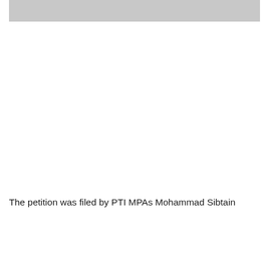[Figure (photo): Gray image placeholder at top of page]
The petition was filed by PTI MPAs Mohammad Sibtain